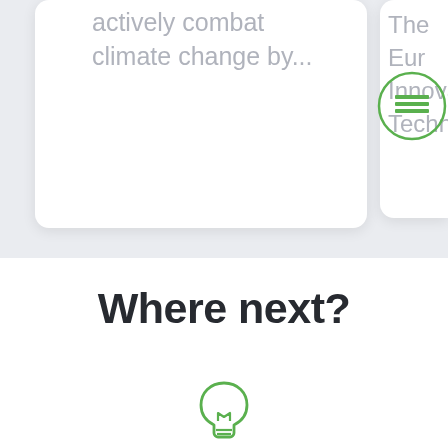actively combat climate change by...
The Eur Innovat Technol
Where next?
[Figure (illustration): A green outlined lightbulb icon at the bottom center of the page]